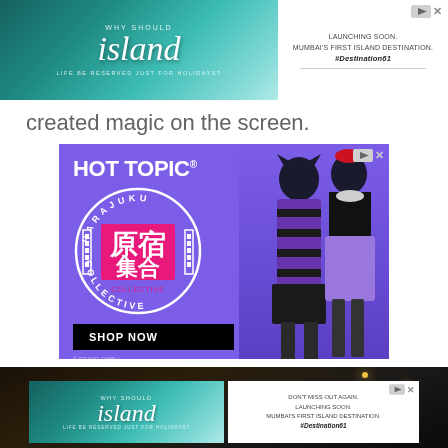[Figure (screenshot): Top banner advertisement for 'island' with teal/turquoise ocean background on left side, and text 'LAUNCHING SOON. MUMBAI'S FIRST ISLAND DESTINATION. #Destination61' on white right side]
created magic on the screen.
[Figure (screenshot): Hot Topic Harajuku Collective advertisement on purple background featuring two models in Japanese street fashion. Left side has 'HOT TOPIC' logo and Harajuku Collective badge with Japanese characters and 'SHOP NOW' button. Bottom says '© STUDIO GHIBLI']
[Figure (screenshot): Bottom section showing dark night street scene with another 'island' advertisement banner overlay reading 'DON'T MISS OUT AGAIN. LAUNCHING SOON. MUMBAI'S FIRST ISLAND DESTINATION. #Destination61']